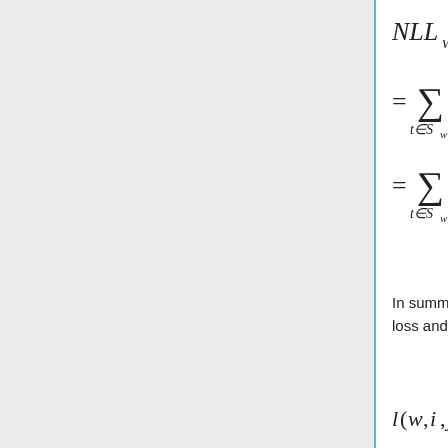where S_w is the set of all possible positions within the word table
In summary, the overall loss function for word w to move to position [i, j] is the sum of its row loss and column loss of moving to position [i, j]. Therefore, total loss of moving to position [i, j]
Thus, to update the table by reallocating each word, we are looking for position [i, j] for each word w that minimize the total loss function, mathematically written as for the following: